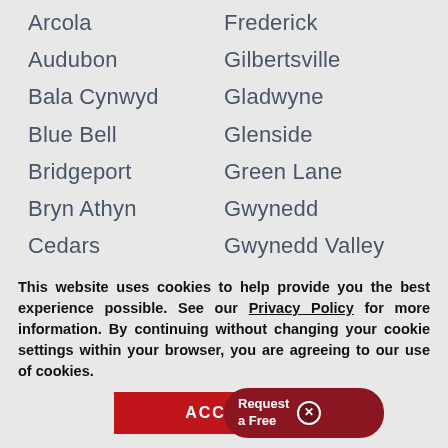Arcola | Frederick
Audubon | Gilbertsville
Bala Cynwyd | Gladwyne
Blue Bell | Glenside
Bridgeport | Green Lane
Bryn Athyn | Gwynedd
Cedars | Gwynedd Valley
Cheltenham | Harleysville
Collegeville | Hatboro
Colmar | Hatfield
Conshohocken | Have[rford]
This website uses cookies to help provide you the best experience possible. See our Privacy Policy for more information. By continuing without changing your cookie settings within your browser, you are agreeing to our use of cookies.